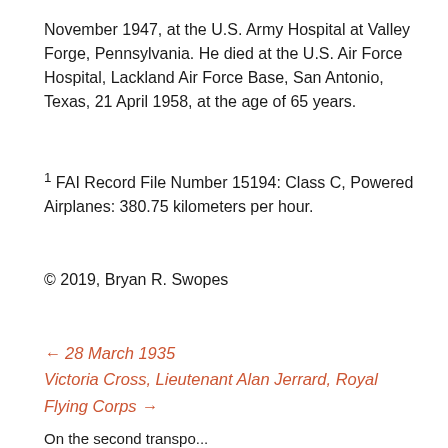November 1947, at the U.S. Army Hospital at Valley Forge, Pennsylvania. He died at the U.S. Air Force Hospital, Lackland Air Force Base, San Antonio, Texas, 21 April 1958, at the age of 65 years.
¹ FAI Record File Number 15194: Class C, Powered Airplanes: 380.75 kilometers per hour.
© 2019, Bryan R. Swopes
← 28 March 1935
Victoria Cross, Lieutenant Alan Jerrard, Royal Flying Corps →
On the second transpo... (S 2 A March d at 9 90)